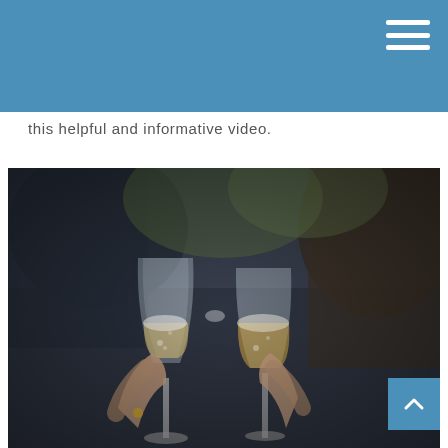this helpful and informative video.
[Figure (photo): Close-up photo of people clinking champagne flutes in a celebratory toast, with blurred people in background]